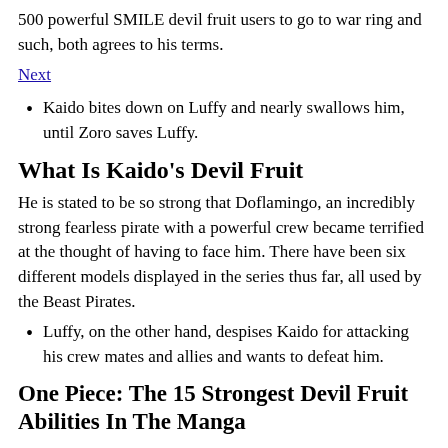500 powerful SMILE devil fruit users to go to war ring and such, both agrees to his terms.
Next
Kaido bites down on Luffy and nearly swallows him, until Zoro saves Luffy.
What Is Kaido's Devil Fruit
He is stated to be so strong that Doflamingo, an incredibly strong fearless pirate with a powerful crew became terrified at the thought of having to face him. There have been six different models displayed in the series thus far, all used by the Beast Pirates.
Luffy, on the other hand, despises Kaido for attacking his crew mates and allies and wants to defeat him.
One Piece: The 15 Strongest Devil Fruit Abilities In The Manga
How many dragon dragon fruits are there in one piece? I'm not sure one way or the other yet, but it could be cool. Big Mom tells Kaido to only spare Nico Robin's life as they would need her to